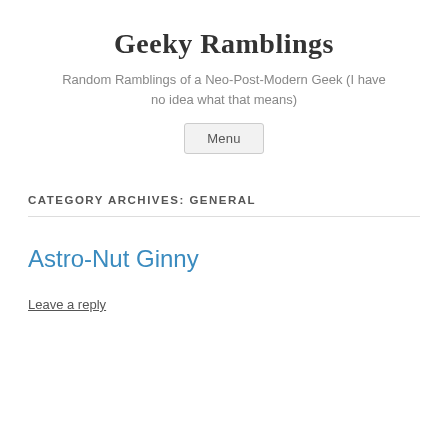Geeky Ramblings
Random Ramblings of a Neo-Post-Modern Geek (I have no idea what that means)
Menu
CATEGORY ARCHIVES: GENERAL
Astro-Nut Ginny
Leave a reply